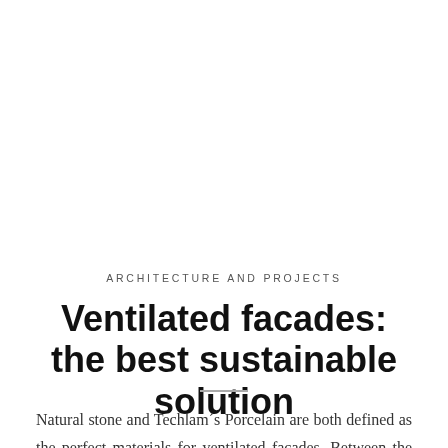ARCHITECTURE AND PROJECTS
Ventilated facades: the best sustainable solution
Natural stone and Techlam´s Porcelain are both defined as the perfect materials for ventilated facades. Between the most sustainable